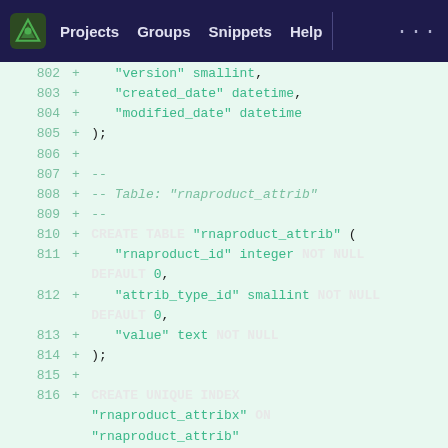Projects  Groups  Snippets  Help  ...
[Figure (screenshot): GitLab-style diff viewer showing SQL code lines 802-816. Lines show additions (green +) with SQL CREATE TABLE and CREATE UNIQUE INDEX statements for rnaproduct_attrib table.]